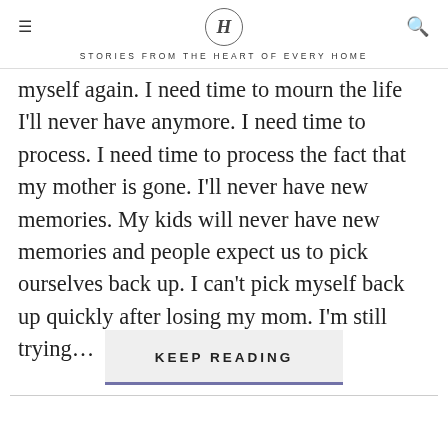H — STORIES FROM THE HEART OF EVERY HOME
myself again. I need time to mourn the life I'll never have anymore. I need time to process. I need time to process the fact that my mother is gone. I'll never have new memories. My kids will never have new memories and people expect us to pick ourselves back up. I can't pick myself back up quickly after losing my mom. I'm still trying…
KEEP READING